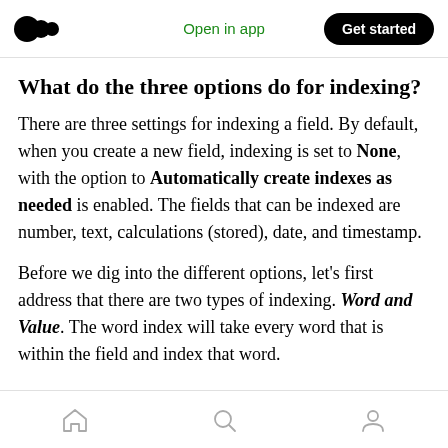Open in app | Get started
What do the three options do for indexing?
There are three settings for indexing a field. By default, when you create a new field, indexing is set to None, with the option to Automatically create indexes as needed is enabled. The fields that can be indexed are number, text, calculations (stored), date, and timestamp.
Before we dig into the different options, let's first address that there are two types of indexing. Word and Value. The word index will take every word that is within the field and index that word.
Home | Search | Profile